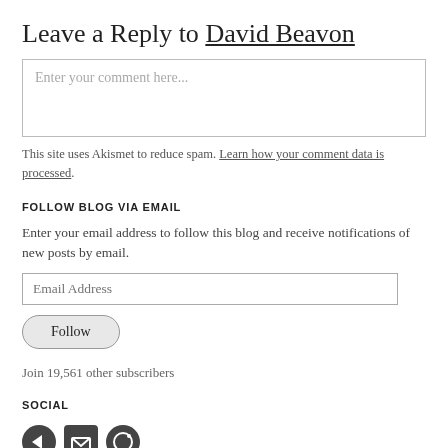Leave a Reply to David Beavon
[Figure (screenshot): Comment text area input box with placeholder text 'Enter your comment here...']
This site uses Akismet to reduce spam. Learn how your comment data is processed.
FOLLOW BLOG VIA EMAIL
Enter your email address to follow this blog and receive notifications of new posts by email.
[Figure (screenshot): Email address input field and Follow button]
Join 19,561 other subscribers
SOCIAL
[Figure (infographic): Social media icons row]